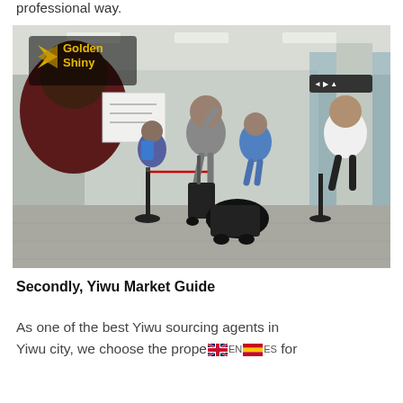professional way.
[Figure (photo): Airport arrivals hall scene with travelers walking through with luggage. A person in the foreground holds a sign. A Golden Shiny logo watermark appears in the top-left corner of the image.]
Secondly, Yiwu Market Guide
As one of the best Yiwu sourcing agents in Yiwu city, we choose the proper suppliers for